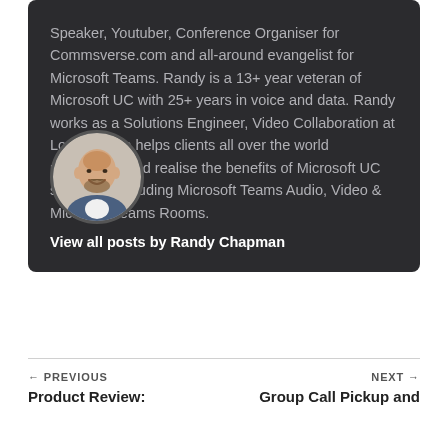[Figure (photo): Circular profile photo of Randy Chapman, a bald smiling man in a blue blazer]
Speaker, Youtuber, Conference Organiser for Commsverse.com and all-around evangelist for Microsoft Teams. Randy is a 13+ year veteran of Microsoft UC with 25+ years in voice and data. Randy works as a Solutions Engineer, Video Collaboration at Logitech. He helps clients all over the world understand and realise the benefits of Microsoft UC solutions. Including Microsoft Teams Audio, Video & Microsoft Teams Rooms.
View all posts by Randy Chapman
← PREVIOUS
Product Review:
NEXT →
Group Call Pickup and